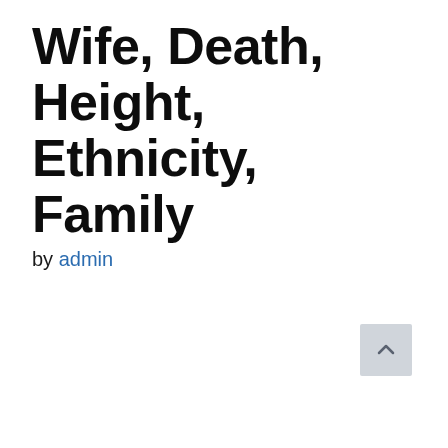Wife, Death, Height, Ethnicity, Family
by admin